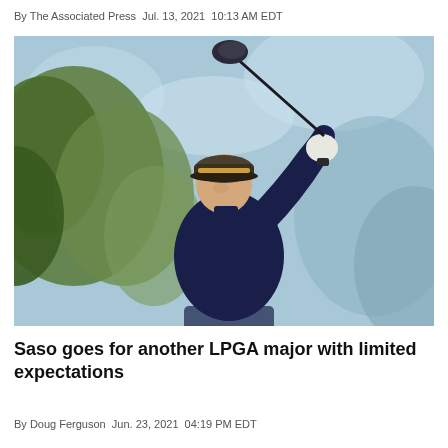By The Associated Press Jul. 13, 2021 10:13 AM EDT
[Figure (photo): A female golfer wearing a dark navy long-sleeve top and a cap swings a driver, photographed against a blurred green tree background with blue sky.]
Saso goes for another LPGA major with limited expectations
By Doug Ferguson Jun. 23, 2021 04:19 PM EDT